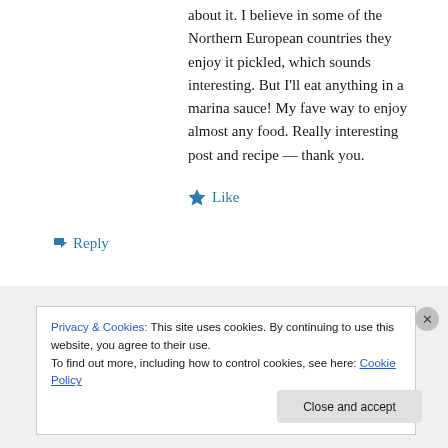about it. I believe in some of the Northern European countries they enjoy it pickled, which sounds interesting. But I'll eat anything in a marina sauce! My fave way to enjoy almost any food. Really interesting post and recipe — thank you.
★ Like
↳ Reply
Privacy & Cookies: This site uses cookies. By continuing to use this website, you agree to their use.
To find out more, including how to control cookies, see here: Cookie Policy
Close and accept